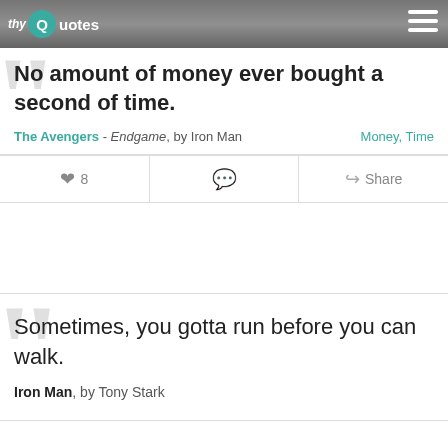thy Quotes
No amount of money ever bought a second of time.
The Avengers - Endgame, by Iron Man   Money, Time
8   Share
Sometimes, you gotta run before you can walk.
Iron Man, by Tony Stark